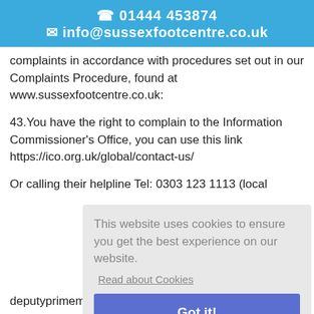☎ 01444 453874
✉ info@sussexfootcentre.co.uk
complaints in accordance with procedures set out in our Complaints Procedure, found at www.sussexfootcentre.co.uk:
43.You have the right to complain to the Information Commissioner's Office, you can use this link https://ico.org.uk/global/contact-us/
Or calling their helpline Tel: 0303 123 1113 (local
deputyprimeminister.gov.mt
[Figure (screenshot): Cookie consent popup overlay with text 'This website uses cookies to ensure you get the best experience on our website.', a 'Read about Cookies' link, and a blue 'Got it!' button.]